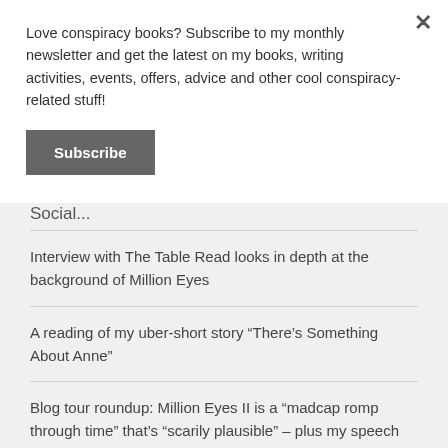Love conspiracy books? Subscribe to my monthly newsletter and get the latest on my books, writing activities, events, offers, advice and other cool conspiracy-related stuff!
Subscribe
Social...
Interview with The Table Read looks in depth at the background of Million Eyes
A reading of my uber-short story “There’s Something About Anne”
Blog tour roundup: Million Eyes II is a “madcap romp through time” that’s “scarily plausible” – plus my speech from the launch